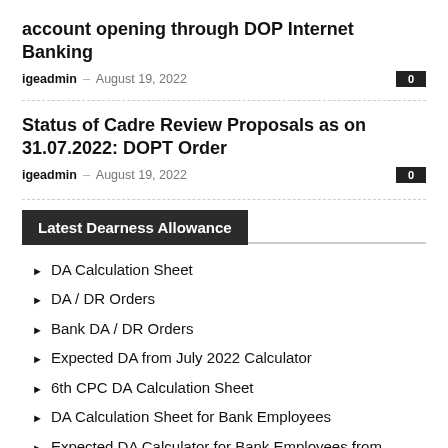account opening through DOP Internet Banking
igeadmin – August 19, 2022
Status of Cadre Review Proposals as on 31.07.2022: DOPT Order
igeadmin – August 19, 2022
Latest Dearness Allowance
DA Calculation Sheet
DA / DR Orders
Bank DA / DR Orders
Expected DA from July 2022 Calculator
6th CPC DA Calculation Sheet
DA Calculation Sheet for Bank Employees
Expected DA Calculator for Bank Employees from August